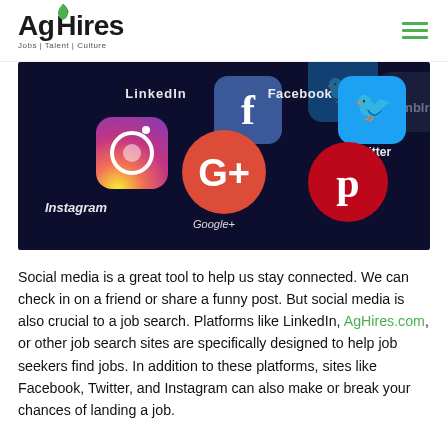AgHires Jobs | Talent | Culture
[Figure (photo): Smartphone screen showing social media app icons including Instagram, LinkedIn, Facebook, Twitter, Google+, and Pinterest on a dark background]
Social media is a great tool to help us stay connected. We can check in on a friend or share a funny post. But social media is also crucial to a job search. Platforms like LinkedIn, AgHires.com, or other job search sites are specifically designed to help job seekers find jobs. In addition to these platforms, sites like Facebook, Twitter, and Instagram can also make or break your chances of landing a job.